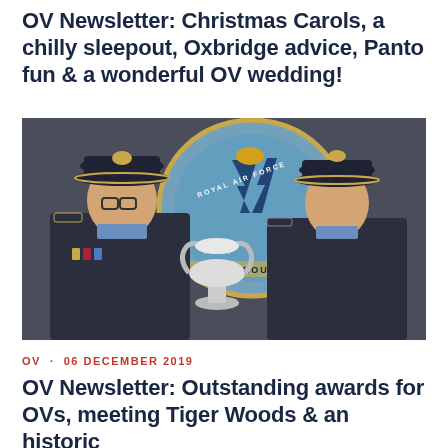OV Newsletter: Christmas Carols, a chilly sleepout, Oxbridge advice, Panto fun & a wonderful OV wedding!
[Figure (photo): Two RAF officers in dark blue uniform shaking hands and holding a silver trophy cup in front of a Royal Air Force 'Thorough' crest/roundel on a wall]
OV · 06 DECEMBER 2019
OV Newsletter: Outstanding awards for OVs, meeting Tiger Woods & an historic